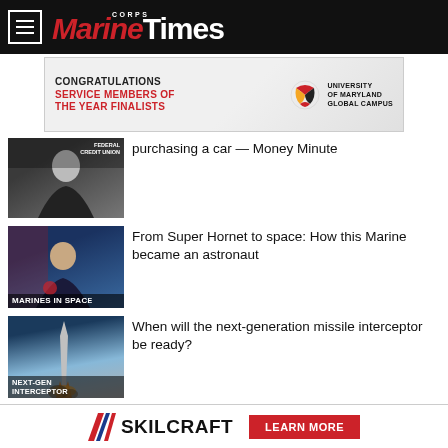Marine Corps Times
[Figure (photo): Advertisement banner: Congratulations Service Members of the Year Finalists – University of Maryland Global Campus]
[Figure (photo): Thumbnail image: Woman in business attire with Federal Credit Union text overlay]
purchasing a car — Money Minute
[Figure (photo): Thumbnail image: Female astronaut/Marine in uniform with Marines in Space text overlay]
From Super Hornet to space: How this Marine became an astronaut
[Figure (photo): Thumbnail image: Missile launch with Next-Gen Interceptor text overlay]
When will the next-generation missile interceptor be ready?
[Figure (logo): Skilcraft logo with Learn More button advertisement]